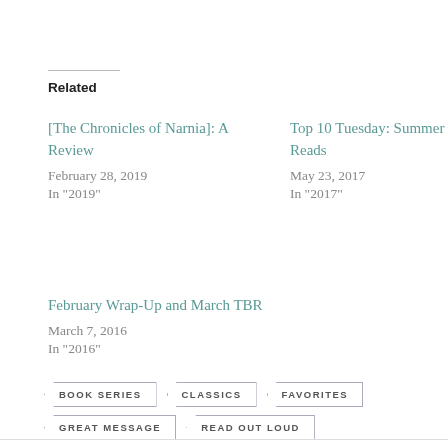Related
[The Chronicles of Narnia]: A Review
February 28, 2019
In "2019"
Top 10 Tuesday: Summer Kid Reads
May 23, 2017
In "2017"
February Wrap-Up and March TBR
March 7, 2016
In "2016"
BOOK SERIES
CLASSICS
FAVORITES
GREAT MESSAGE
READ OUT LOUD